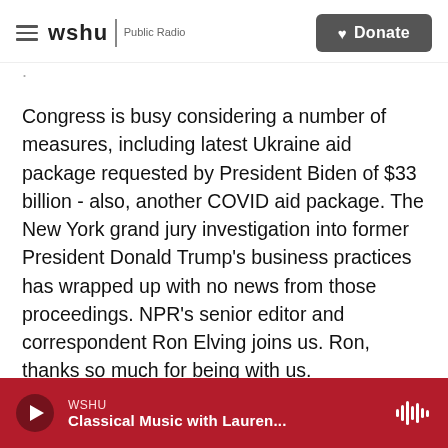wshu Public Radio | Donate
Congress is busy considering a number of measures, including latest Ukraine aid package requested by President Biden of $33 billion - also, another COVID aid package. The New York grand jury investigation into former President Donald Trump's business practices has wrapped up with no news from those proceedings. NPR's senior editor and correspondent Ron Elving joins us. Ron, thanks so much for being with us.
RON ELVING, BYLINE: Good to be with you, Scott.
WSHU | Classical Music with Lauren...